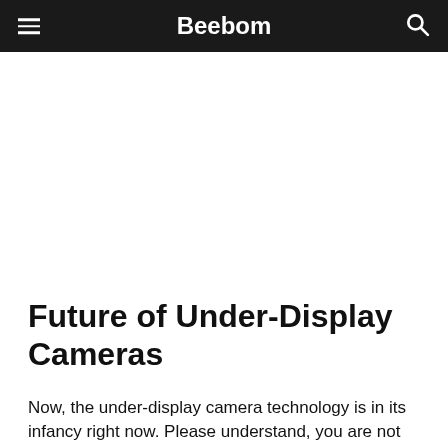Beebom
Future of Under-Display Cameras
Now, the under-display camera technology is in its infancy right now. Please understand, you are not